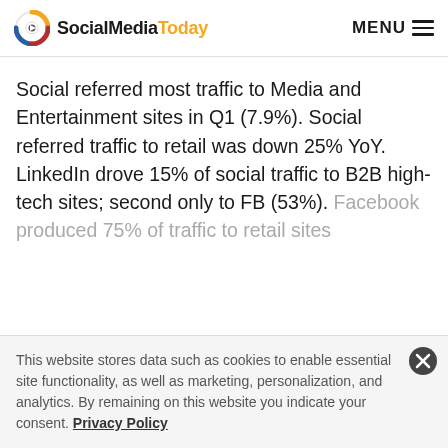SocialMediaToday  MENU
Social referred most traffic to Media and Entertainment sites in Q1 (7.9%). Social referred traffic to retail was down 25% YoY. LinkedIn drove 15% of social traffic to B2B high-tech sites; second only to FB (53%). Facebook produced 75% of traffic to retail sites
This website stores data such as cookies to enable essential site functionality, as well as marketing, personalization, and analytics. By remaining on this website you indicate your consent. Privacy Policy